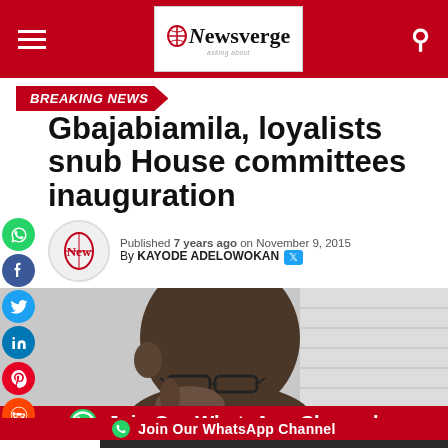NEWSVERGE
BREAKING NEWS
Gbajabiamila, loyalists snub House committees inauguration
Published 7 years ago on November 9, 2015
By KAYODE ADELOWOKAN
[Figure (photo): Close-up photo of a man wearing glasses, hand near his face]
Join Our WhatsApp Channel
NSE STOCK: